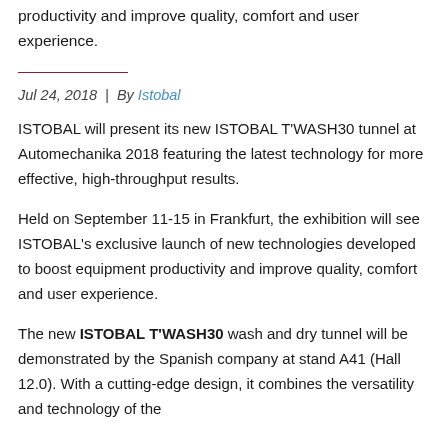productivity and improve quality, comfort and user experience.
Jul 24, 2018  |  By Istobal
ISTOBAL will present its new ISTOBAL T'WASH30 tunnel at Automechanika 2018 featuring the latest technology for more effective, high-throughput results.
Held on September 11-15 in Frankfurt, the exhibition will see ISTOBAL's exclusive launch of new technologies developed to boost equipment productivity and improve quality, comfort and user experience.
The new ISTOBAL T'WASH30 wash and dry tunnel will be demonstrated by the Spanish company at stand A41 (Hall 12.0). With a cutting-edge design, it combines the versatility and technology of the